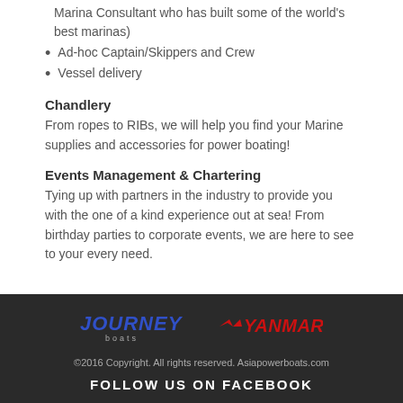Marina Consultant who has built some of the world's best marinas)
Ad-hoc Captain/Skippers and Crew
Vessel delivery
Chandlery
From ropes to RIBs, we will help you find your Marine supplies and accessories for power boating!
Events Management & Chartering
Tying up with partners in the industry to provide you with the one of a kind experience out at sea! From birthday parties to corporate events, we are here to see to your every need.
[Figure (logo): Journey Boats logo and Yanmar logo side by side on dark footer background]
©2016 Copyright. All rights reserved. Asiapowerboats.com
FOLLOW US ON FACEBOOK